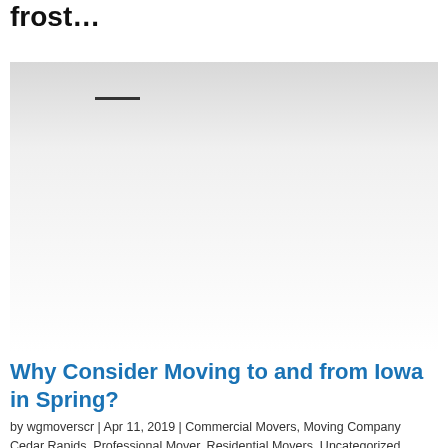frost…
[Figure (photo): A light gray/white image, possibly a winter or spring scene, with a horizontal dash/line element visible near the top.]
Why Consider Moving to and from Iowa in Spring?
by wgmoverscr | Apr 11, 2019 | Commercial Movers, Moving Company Cedar Rapids, Professional Mover, Residential Movers, Uncategorized